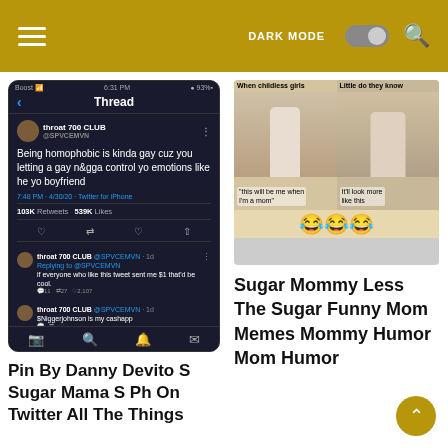DARK MODE [toggle] [search icon]
[Figure (screenshot): Screenshot of Twitter thread showing tweets from 'throat 700 CLUB @SPVCEMVN'. Main tweet reads: 'Being homophobic is kinda gay cuz you letting a gay n*gga control yo emotions like he yo boyfriend'. 7:48 PM · 4/30/20 · Twitter for iPhone. 103K Retweets 539K Likes. Reply tweets below.]
Pin By Danny Devito S Sugar Mama S Ph On Twitter All The Things
[Figure (photo): Meme image comparing 'When childless girls say' (woman in polka dot dress with children) and 'Little do they know' (woman in robe holding babies). Caption text: 'this will be me when I'm a mom' and 'It'll look more like this'. Three laughing-crying emojis below.]
Sugar Mommy Less The Sugar Funny Mom Memes Mommy Humor Mom Humor